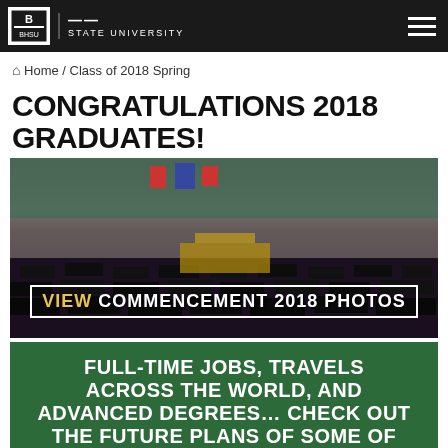BHSU STATE UNIVERSITY
🏠 Home / Class of 2018 Spring
CONGRATULATIONS 2018 GRADUATES!
[Figure (photo): Graduation ceremony photo showing rows of graduates in black caps and gowns with 'VIEW COMMENCEMENT 2018 PHOTOS' overlay text]
FULL-TIME JOBS, TRAVELS ACROSS THE WORLD, AND ADVANCED DEGREES… CHECK OUT THE FUTURE PLANS OF SOME OF OUR BHSU 2018 GRADUATES!